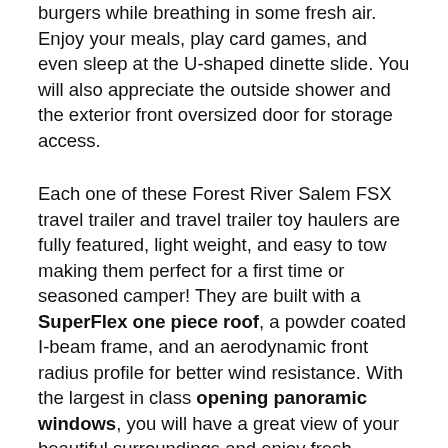burgers while breathing in some fresh air. Enjoy your meals, play card games, and even sleep at the U-shaped dinette slide. You will also appreciate the outside shower and the exterior front oversized door for storage access.
Each one of these Forest River Salem FSX travel trailer and travel trailer toy haulers are fully featured, light weight, and easy to tow making them perfect for a first time or seasoned camper! They are built with a SuperFlex one piece roof, a powder coated I-beam frame, and an aerodynamic front radius profile for better wind resistance. With the largest in class opening panoramic windows, you will have a great view of your beautiful surroundings and enjoy fresh breezes of air throughout. A diamond plate